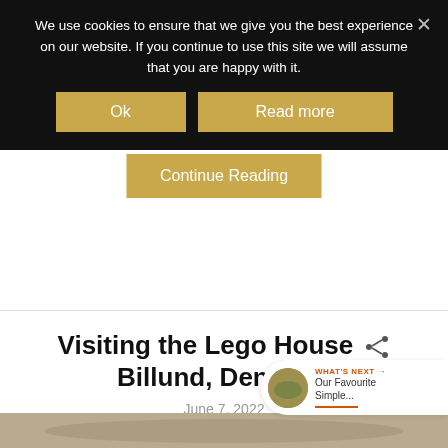We use cookies to ensure that we give you the best experience on our website. If you continue to use this site we will assume that you are happy with it.
Ok
Read more
Continue Reading
Visiting the Lego House Billund, Denmark
June 7, 2022
WHAT'S NEXT → Our Favourite Simple...